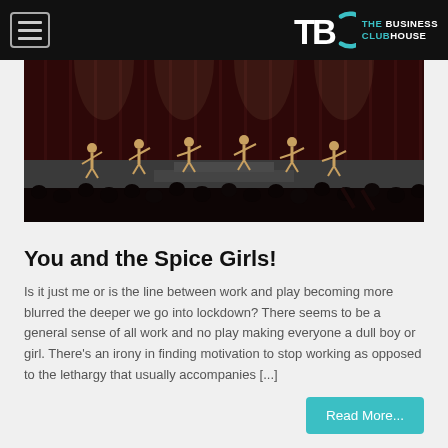THE BUSINESS CLUBHOUSE
[Figure (photo): Concert stage scene with performers dancing under dramatic lighting with a dark red/black background audience in foreground]
You and the Spice Girls!
Is it just me or is the line between work and play becoming more blurred the deeper we go into lockdown? There seems to be a general sense of all work and no play making everyone a dull boy or girl. There’s an irony in finding motivation to stop working as opposed to the lethargy that usually accompanies [...]
Read More...